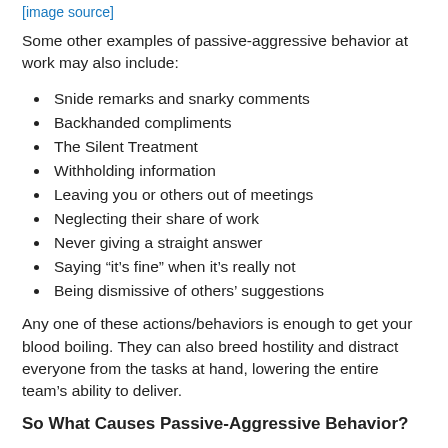[image source]
Some other examples of passive-aggressive behavior at work may also include:
Snide remarks and snarky comments
Backhanded compliments
The Silent Treatment
Withholding information
Leaving you or others out of meetings
Neglecting their share of work
Never giving a straight answer
Saying “it’s fine” when it’s really not
Being dismissive of others’ suggestions
Any one of these actions/behaviors is enough to get your blood boiling. They can also breed hostility and distract everyone from the tasks at hand, lowering the entire team’s ability to deliver.
So What Causes Passive-Aggressive Behavior?